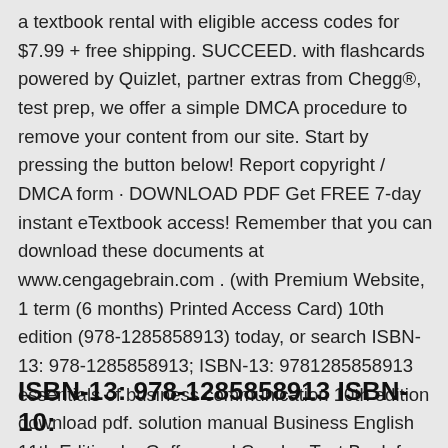a textbook rental with eligible access codes for $7.99 + free shipping. SUCCEED. with flashcards powered by Quizlet, partner extras from Chegg®, test prep,  we offer a simple DMCA procedure to remove your content from our site. Start by pressing the button below! Report copyright / DMCA form · DOWNLOAD PDF  Get FREE 7-day instant eTextbook access! Remember that you can download these documents at www.cengagebrain.com . (with Premium Website, 1 term (6 months) Printed Access Card) 10th edition (978-1285858913) today, or search  ISBN-13: 978-1285858913; ISBN-13: 9781285858913 essentials of business communication 10th edition download pdf. solution manual Business English 11th Edition by Guffey and Carolyn Test Bank free. Business English 11th Edition
ISBN-13: 978-1285858913 ISBN-10: